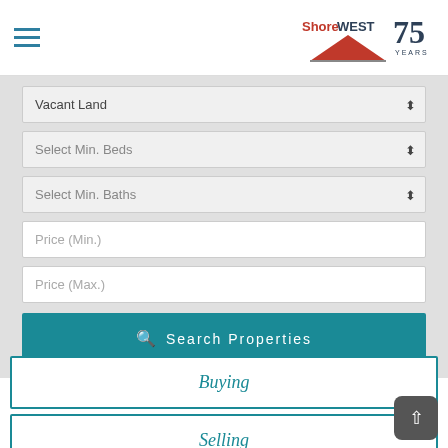ShoreWEST 75 Years logo header with hamburger menu
Vacant Land
Select Min. Beds
Select Min. Baths
Price (Min.)
Price (Max.)
Search Properties
Buying
Selling
Financing